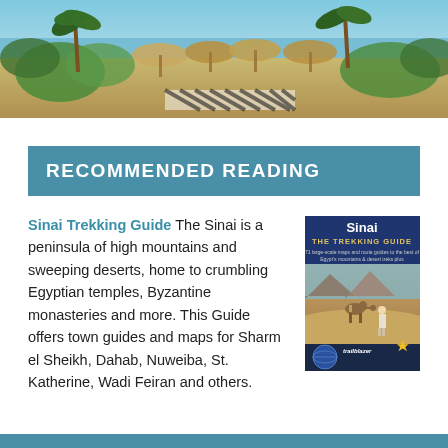[Figure (photo): Beach resort scene with palm trees, straw umbrellas, sandy beach and blue water in background]
RECOMMENDED READING
Sinai Trekking Guide The Sinai is a peninsula of high mountains and sweeping deserts, home to crumbling Egyptian temples, Byzantine monasteries and more. This Guide offers town guides and maps for Sharm el Sheikh, Dahab, Nuweiba, St. Katherine, Wadi Feiran and others.
[Figure (photo): Book cover: Sinai The Trekking Guide by Trailblazer, showing camels in a desert landscape]